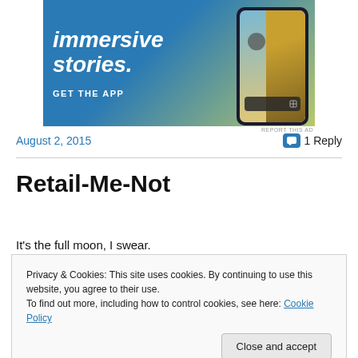[Figure (illustration): App advertisement banner with gradient blue-green background, large italic white text 'immersive stories.' and 'GET THE APP', and a smartphone mockup showing a person in a yellow jacket on screen]
REPORT THIS AD
August 2, 2015
1 Reply
Retail-Me-Not
It's the full moon, I swear.
Privacy & Cookies: This site uses cookies. By continuing to use this website, you agree to their use.
To find out more, including how to control cookies, see here: Cookie Policy
Close and accept